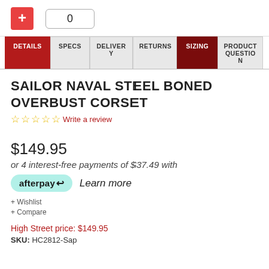[Figure (other): Plus button (red square with white +) and quantity badge showing 0]
DETAILS | SPECS | DELIVERY | RETURNS | SIZING | PRODUCT QUESTION
SAILOR NAVAL STEEL BONED OVERBUST CORSET
☆☆☆☆☆ Write a review
$149.95
or 4 interest-free payments of $37.49 with
afterpay Learn more
+ Wishlist
+ Compare
High Street price: $149.95
SKU: HC2812-Sap